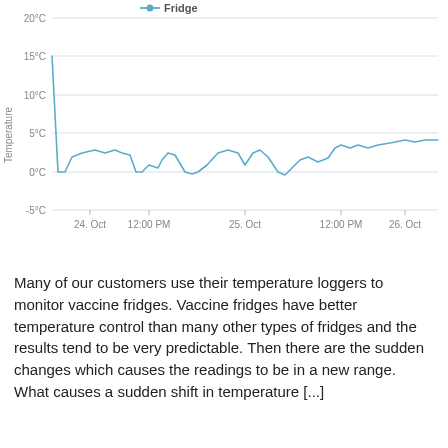[Figure (continuous-plot): Line chart showing fridge temperature from 24 Oct to 26 Oct. Temperature starts at ~15°C, drops quickly to near 0°C, then fluctuates between 0°C and 3°C with occasional dips near -0.5°C, trending slightly upward to ~3.5°C by 26 Oct.]
Many of our customers use their temperature loggers to monitor vaccine fridges. Vaccine fridges have better temperature control than many other types of fridges and the results tend to be very predictable. Then there are the sudden changes which causes the readings to be in a new range. What causes a sudden shift in temperature [...]